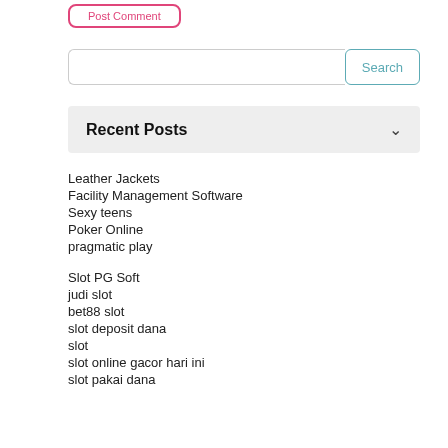Post Comment
Recent Posts
Leather Jackets
Facility Management Software
Sexy teens
Poker Online
pragmatic play
Slot PG Soft
judi slot
bet88 slot
slot deposit dana
slot
slot online gacor hari ini
slot pakai dana